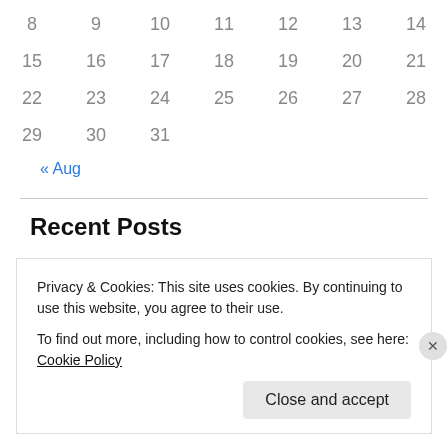| 8 | 9 | 10 | 11 | 12 | 13 | 14 |
| 15 | 16 | 17 | 18 | 19 | 20 | 21 |
| 22 | 23 | 24 | 25 | 26 | 27 | 28 |
| 29 | 30 | 31 |  |  |  |  |
« Aug
Recent Posts
Surprise Visitors at our Gate
Thoughts of a Uruguay Fútbolista
World Cup – Uruguay Wins Against Portugal
Things I Have Not Seen Before
Privacy & Cookies: This site uses cookies. By continuing to use this website, you agree to their use.
To find out more, including how to control cookies, see here: Cookie Policy
Close and accept